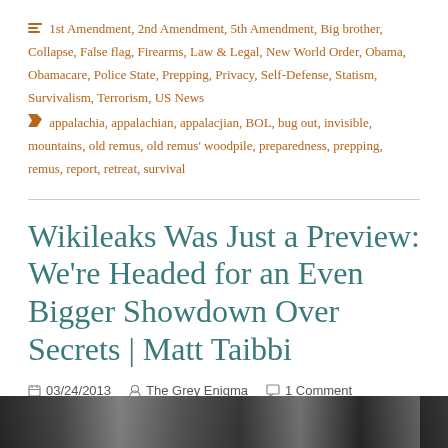1st Amendment, 2nd Amendment, 5th Amendment, Big brother, Collapse, False flag, Firearms, Law & Legal, New World Order, Obama, Obamacare, Police State, Prepping, Privacy, Self-Defense, Statism, Survivalism, Terrorism, US News
appalachia, appalachian, appalacjian, BOL, bug out, invisible, mountains, old remus, old remus' woodpile, preparedness, prepping, remus, report, retreat, survival
Wikileaks Was Just a Preview: We're Headed for an Even Bigger Showdown Over Secrets | Matt Taibbi
03/24/2013   The Grey Enigma   1 Comment
[Figure (photo): Bottom strip showing a dark photograph, partially visible at the bottom of the page.]